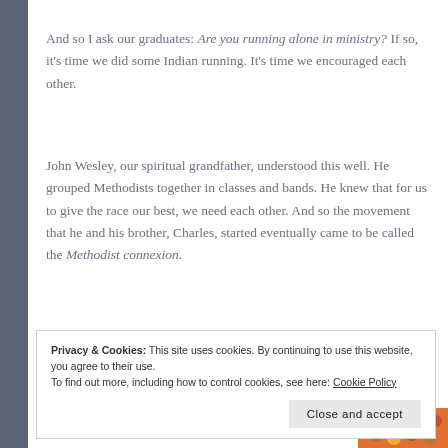And so I ask our graduates: Are you running alone in ministry? If so, it's time we did some Indian running. It's time we encouraged each other.
John Wesley, our spiritual grandfather, understood this well. He grouped Methodists together in classes and bands. He knew that for us to give the race our best, we need each other. And so the movement that he and his brother, Charles, started eventually came to be called the Methodist connexion.
Privacy & Cookies: This site uses cookies. By continuing to use this website, you agree to their use. To find out more, including how to control cookies, see here: Cookie Policy
Close and accept
the Church of the